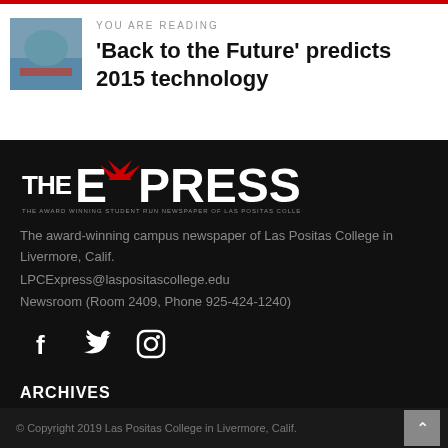YOU ARE READING
'Back to the Future' predicts 2015 technology
[Figure (logo): The Express — The Award Winning Student Run Newspaper of Las Positas College logo, white text on black background with red eagle]
The award-winning campus newspaper of Las Positas College in Livermore, Calif.
LPCExpress@laspositascollege.edu
Newsroom (Room 2409, Phone 925-424-1240)
[Figure (infographic): Social media icons: Facebook, Twitter, Instagram in white on dark background]
ARCHIVES
Select Month
© Copyright 2019 Las Positas College in Livermore, Calif.